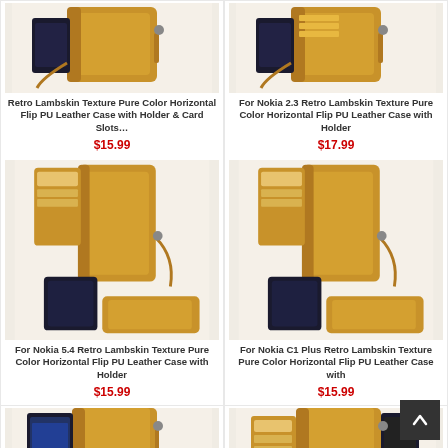[Figure (photo): Retro lambskin texture brown leather wallet phone case product image - top partial]
Retro Lambskin Texture Pure Color Horizontal Flip PU Leather Case with Holder & Card Slots…
$15.99
[Figure (photo): For Nokia 2.3 Retro Lambskin Texture brown leather wallet phone case product image - top partial]
For Nokia 2.3 Retro Lambskin Texture Pure Color Horizontal Flip PU Leather Case with Holder
$17.99
[Figure (photo): For Nokia 5.4 Retro Lambskin Texture brown leather wallet phone case product image]
For Nokia 5.4 Retro Lambskin Texture Pure Color Horizontal Flip PU Leather Case with Holder
$15.99
[Figure (photo): For Nokia C1 Plus Retro Lambskin Texture brown leather wallet phone case product image]
For Nokia C1 Plus Retro Lambskin Texture Pure Color Horizontal Flip PU Leather Case with
$15.99
[Figure (photo): Nokia phone leather case partial view bottom left]
[Figure (photo): Nokia phone leather case partial view bottom right]